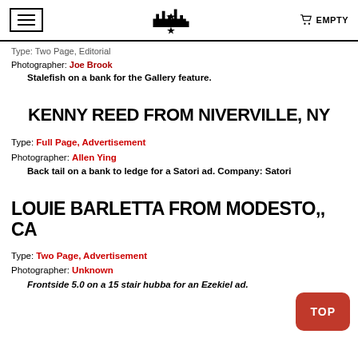EMPTY
Type: Two Page, Editorial
Photographer: Joe Brook
Stalefish on a bank for the Gallery feature.
KENNY REED FROM NIVERVILLE, NY
Type: Full Page, Advertisement
Photographer: Allen Ying
Back tail on a bank to ledge for a Satori ad. Company: Satori
LOUIE BARLETTA FROM MODESTO,, CA
Type: Two Page, Advertisement
Photographer: Unknown
Frontside 5.0 on a 15 stair hubba for an Ezekiel ad.